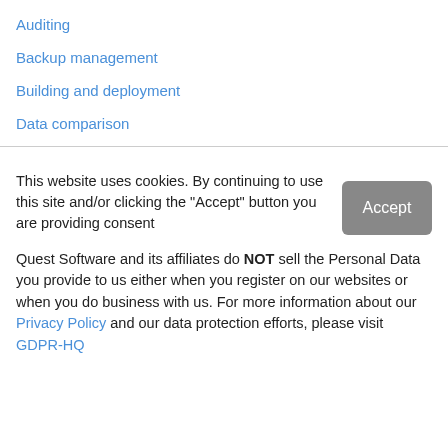Auditing
Backup management
Building and deployment
Data comparison
This website uses cookies. By continuing to use this site and/or clicking the "Accept" button you are providing consent
Quest Software and its affiliates do NOT sell the Personal Data you provide to us either when you register on our websites or when you do business with us. For more information about our Privacy Policy and our data protection efforts, please visit GDPR-HQ